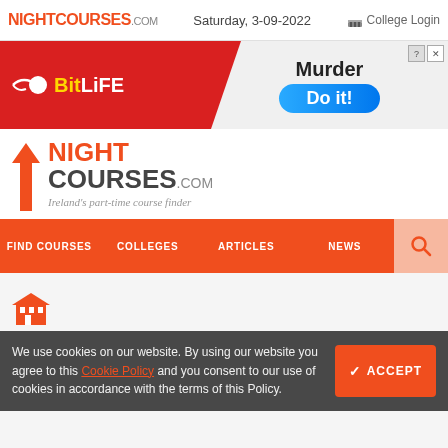NIGHTCOURSES.com  Saturday, 3-09-2022  College Login
[Figure (illustration): BitLife mobile game advertisement banner: red left panel with BitLife logo and spermatozoon icon, gray-white right panel with 'Murder Do it!' text and blue pill button, close and help icons]
NIGHT COURSES .COM Ireland's part-time course finder
FIND COURSES  COLLEGES  ARTICLES  NEWS
[Figure (illustration): Orange building/institution icon at bottom left of content area]
We use cookies on our website. By using our website you agree to this Cookie Policy and you consent to our use of cookies in accordance with the terms of this Policy.